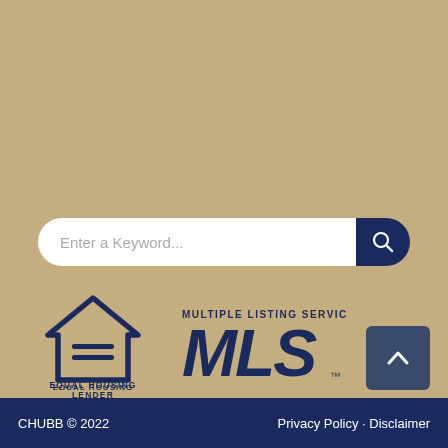[Figure (screenshot): Search bar with 'Enter a Keyword...' placeholder text and a dark navy search button with magnifying glass icon]
[Figure (logo): Equal Housing Lender logo — house icon with equals sign, text 'EQUAL HOUSING LENDER' below]
[Figure (logo): Multiple Listing Service MLS logo with trademark symbol]
[Figure (other): Back-to-top button with upward chevron arrow]
CHUBB © 2022   Privacy Policy · Disclaimer